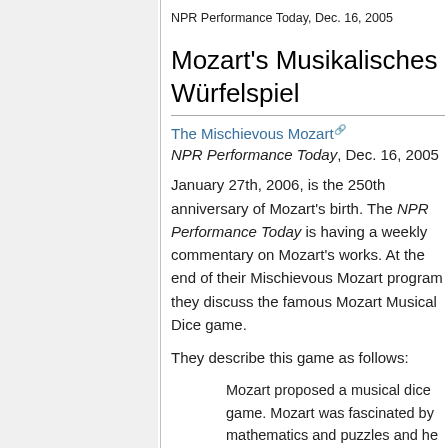NPR Performance Today, Dec. 16, 2005
Mozart's Musikalisches Würfelspiel
The Mischievous Mozart
NPR Performance Today, Dec. 16, 2005
January 27th, 2006, is the 250th anniversary of Mozart's birth. The NPR Performance Today is having a weekly commentary on Mozart's works. At the end of their Mischievous Mozart program they discuss the famous Mozart Musical Dice game.
They describe this game as follows:
Mozart proposed a musical dice game. Mozart was fascinated by mathematics and puzzles and he wrote a